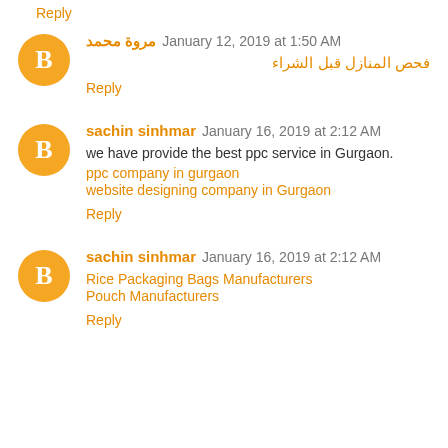Reply
مروة محمد  January 12, 2019 at 1:50 AM
فحص المنازل قبل الشراء
Reply
sachin sinhmar  January 16, 2019 at 2:12 AM
we have provide the best ppc service in Gurgaon.
ppc company in gurgaon
website designing company in Gurgaon
Reply
sachin sinhmar  January 16, 2019 at 2:12 AM
Rice Packaging Bags Manufacturers
Pouch Manufacturers
Reply